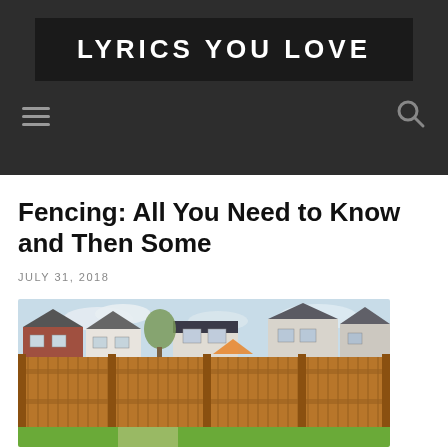LYRICS YOU LOVE
Fencing: All You Need to Know and Then Some
JULY 31, 2018
[Figure (photo): Photograph of a wooden fence in a backyard with suburban houses visible in the background, green grass in foreground.]